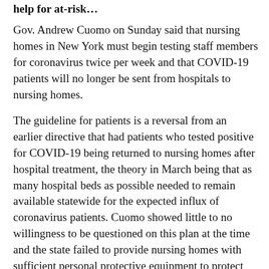help for at-risk…
Gov. Andrew Cuomo on Sunday said that nursing homes in New York must begin testing staff members for coronavirus twice per week and that COVID-19 patients will no longer be sent from hospitals to nursing homes.
The guideline for patients is a reversal from an earlier directive that had patients who tested positive for COVID-19 being returned to nursing homes after hospital treatment, the theory in March being that as many hospital beds as possible needed to remain available statewide for the expected influx of coronavirus patients. Cuomo showed little to no willingness to be questioned on this plan at the time and the state failed to provide nursing homes with sufficient personal protective equipment to protect staff members.
Keeping hospital beds as open as possible may have seemed like the right thing to do at that time, but critics point out that the strategy likely exacerbated the spread of COVID-19